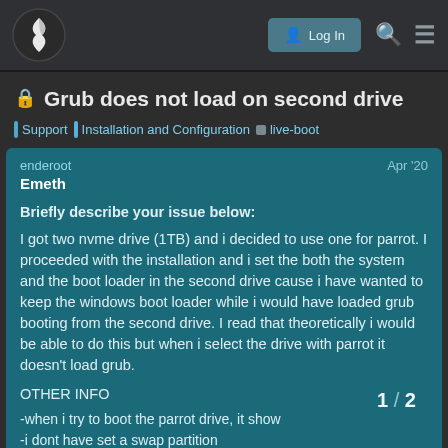Parrot OS Forum — Log In [navigation bar]
🔒 Grub does not load on second drive
Support | Installation and Configuration | live-boot
enderoot   Apr '20
Emeth
Briefly describe your issue below:
I got two nvme drive (1TB) and i decided to use one for parrot. I proceeded with the installation and i set the both the system and the boot loader in the second drive cause i have wanted to keep the windows boot loader while i would have loaded grub booting from the second drive. I read that theoretically i would be able to do this but when i select the drive with parrot it doesn't load grub.
OTHER INFO
-when i try to boot the parrot drive, it show
-i dont have set a swap partition
1 / 2